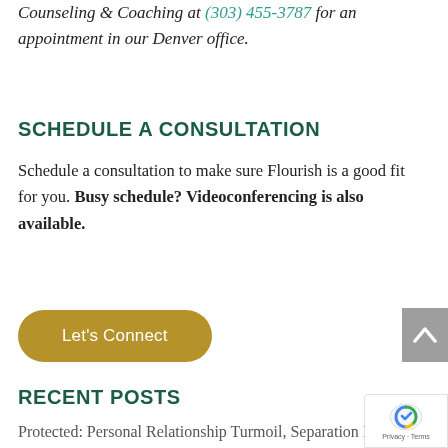Counseling & Coaching at (303) 455-3787 for an appointment in our Denver office.
SCHEDULE A CONSULTATION
Schedule a consultation to make sure Flourish is a good fit for you. Busy schedule? Videoconferencing is also available.
[Figure (other): Gold/olive rounded button labeled 'Let's Connect' and a grey scroll-to-top button on the right]
RECENT POSTS
Protected: Personal Relationship Turmoil, Separation Hits C-Suite